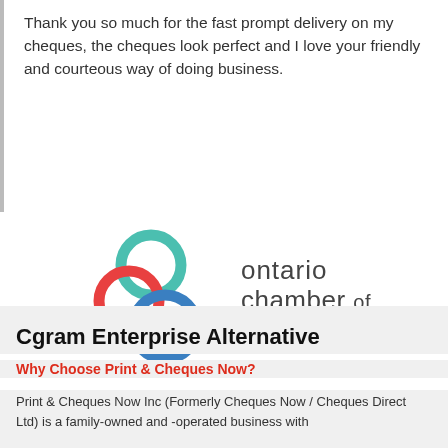Thank you so much for the fast prompt delivery on my cheques, the cheques look perfect and I love your friendly and courteous way of doing business.
[Figure (logo): Ontario Chamber of Commerce logo with three interlocking rings in red, teal/green, and blue, beside the text 'ontario chamber of commerce' in dark grey.]
Cgram Enterprise Alternative
Why Choose Print & Cheques Now?
Print & Cheques Now Inc (Formerly Cheques Now / Cheques Direct Ltd) is a family-owned and -operated business with